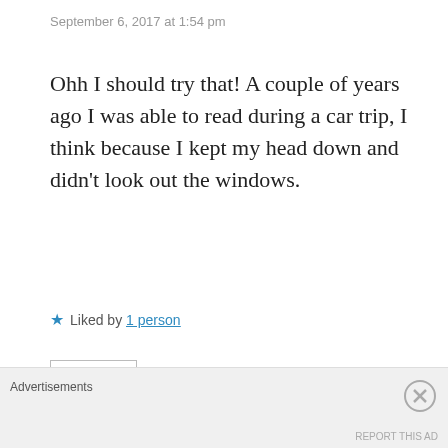September 6, 2017 at 1:54 pm
Ohh I should try that! A couple of years ago I was able to read during a car trip, I think because I kept my head down and didn't look out the windows.
★ Liked by 1 person
Reply
Darque Dreamer Reads
Advertisements